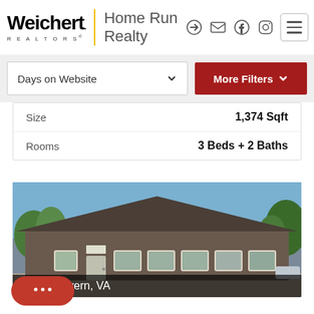[Figure (logo): Weichert Realtors Home Run Realty logo with yellow vertical bar divider]
Days on Website
More Filters
|  |  |
| --- | --- |
| Size | 1,374 Sqft |
| Rooms | 3 Beds + 2 Baths |
[Figure (photo): Exterior photo of a brown brick commercial/residential building with large windows and a dark shingled roof, Millers Tavern, VA]
Millers Tavern, VA